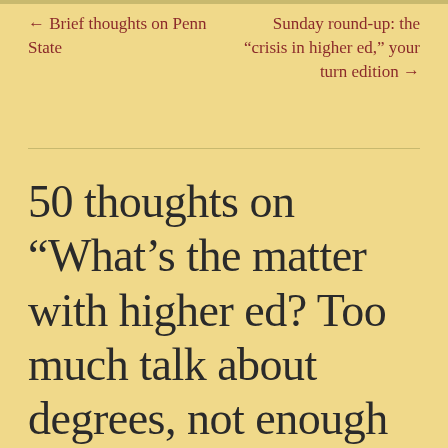← Brief thoughts on Penn State
Sunday round-up: the “crisis in higher ed,” your turn edition →
50 thoughts on “What’s the matter with higher ed? Too much talk about degrees, not enough talk about achievement.”